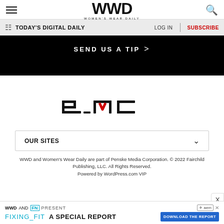WWD WOMEN'S WEAR DAILY
TODAY'S DIGITAL DAILY  LOG IN  SUBSCRIBE
SEND US A TIP >
[Figure (logo): PMC (Penske Media Corporation) logo in black with a red chevron accent on the M]
OUR SITES
WWD and Women's Wear Daily are part of Penske Media Corporation. © 2022 Fairchild Publishing, LLC. All Rights Reserved. Powered by WordPress.com VIP
WWD AND FN PRESENT FIXING_FIT A SPECIAL REPORT DOWNLOAD THE REPORT